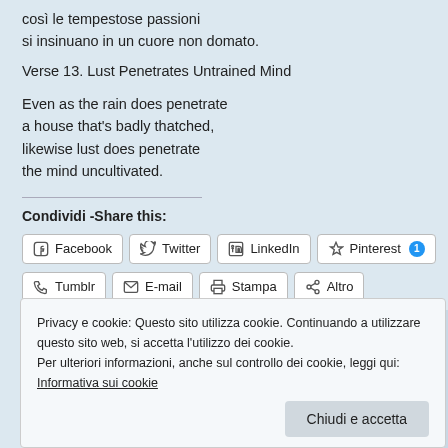così le tempestose passioni
si insinuano in un cuore non domato.
Verse 13. Lust Penetrates Untrained Mind
Even as the rain does penetrate
a house that's badly thatched,
likewise lust does penetrate
the mind uncultivated.
Condividi -Share this:
Facebook  Twitter  LinkedIn  Pinterest 1  Tumblr  E-mail  Stampa  Altro
Privacy e cookie: Questo sito utilizza cookie. Continuando a utilizzare questo sito web, si accetta l'utilizzo dei cookie.
Per ulteriori informazioni, anche sul controllo dei cookie, leggi qui:
Informativa sui cookie